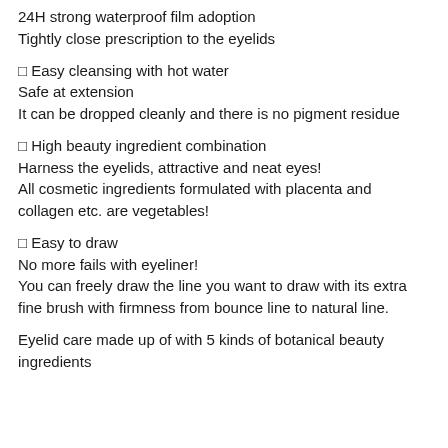24H strong waterproof film adoption
Tightly close prescription to the eyelids
□ Easy cleansing with hot water
Safe at extension
It can be dropped cleanly and there is no pigment residue
□ High beauty ingredient combination
Harness the eyelids, attractive and neat eyes!
All cosmetic ingredients formulated with placenta and collagen etc. are vegetables!
□ Easy to draw
No more fails with eyeliner!
You can freely draw the line you want to draw with its extra fine brush with firmness from bounce line to natural line.
Eyelid care made up of with 5 kinds of botanical beauty ingredients